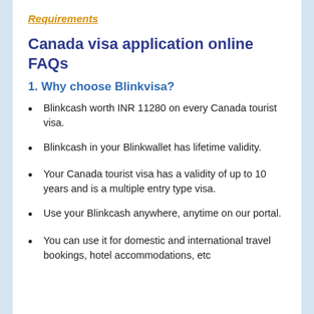Requirements
Canada visa application online FAQs
1. Why choose Blinkvisa?
Blinkcash worth INR 11280 on every Canada tourist visa.
Blinkcash in your Blinkwallet has lifetime validity.
Your Canada tourist visa has a validity of up to 10 years and is a multiple entry type visa.
Use your Blinkcash anywhere, anytime on our portal.
You can use it for domestic and international travel bookings, hotel accommodations, etc